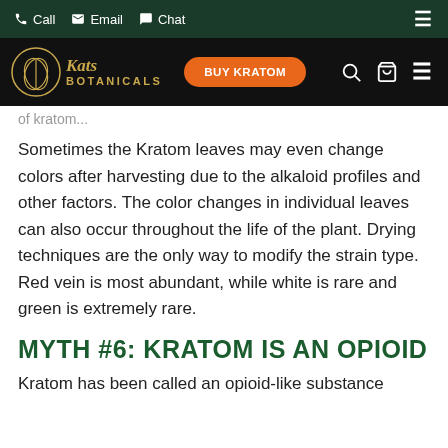Call  Email  Chat  ☰
[Figure (logo): Kats Botanicals logo with golden circular leaf emblem and BUY KRATOM orange button, search, cart, and menu icons on dark navigation bar]
of kratom...
Sometimes the Kratom leaves may even change colors after harvesting due to the alkaloid profiles and other factors. The color changes in individual leaves can also occur throughout the life of the plant. Drying techniques are the only way to modify the strain type. Red vein is most abundant, while white is rare and green is extremely rare.
MYTH #6: KRATOM IS AN OPIOID
Kratom has been called an opioid-like substance